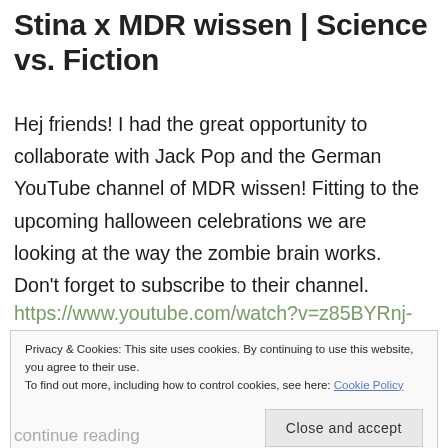Stina x MDR wissen | Science vs. Fiction
Hej friends! I had the great opportunity to collaborate with Jack Pop and the German YouTube channel of MDR wissen! Fitting to the upcoming halloween celebrations we are looking at the way the zombie brain works. Don't forget to subscribe to their channel.
https://www.youtube.com/watch?v=z85BYRnj-
Privacy & Cookies: This site uses cookies. By continuing to use this website, you agree to their use.
To find out more, including how to control cookies, see here: Cookie Policy
Close and accept
continue reading